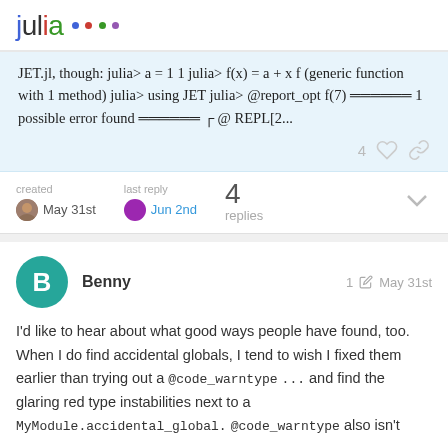julia
JET.jl, though: julia> a = 1 1 julia> f(x) = a + x f (generic function with 1 method) julia> using JET julia> @report_opt f(7) ══════ 1 possible error found ══════ ┌ @ REPL[2...
4 ♡ 🔗
created
May 31st
last reply
Jun 2nd
4
replies
Benny
1 ✏ May 31st
I'd like to hear about what good ways people have found, too. When I do find accidental globals, I tend to wish I fixed them earlier than trying out a @code_warntype ... and find the glaring red type instabilities next to a
MyModule.accidental_global. @code_warntype also isn't